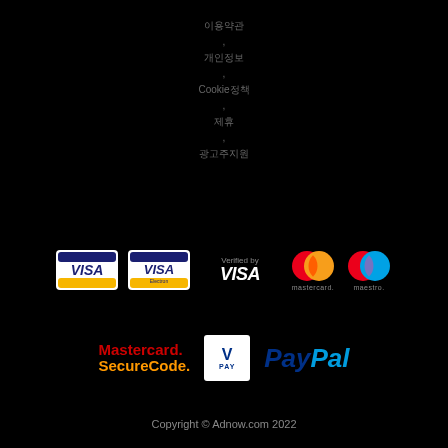이용약관
,
개인정보
,
Cookie정책
,
제휴
,
광고주지원
[Figure (logo): Payment method logos: VISA, VISA Electron, Verified by VISA, Mastercard, Maestro]
[Figure (logo): Payment method logos: Mastercard SecureCode, V PAY, PayPal]
Copyright © Adnow.com 2022